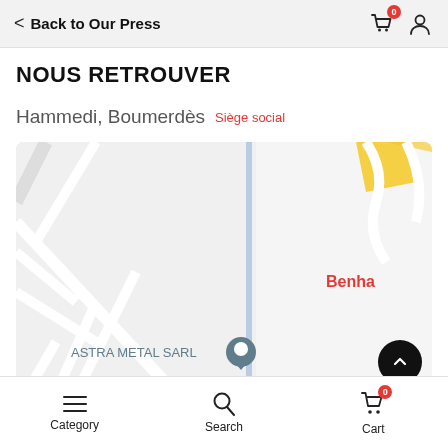Back to Our Press
NOUS RETROUVER
Hammedi, Boumerdès  Siège social
[Figure (map): Map showing location of ASTRA METAL SARL in Hammedi, Boumerdès area, with a pin marker and partial label 'Benha' visible on the right side.]
Category  Search  Cart